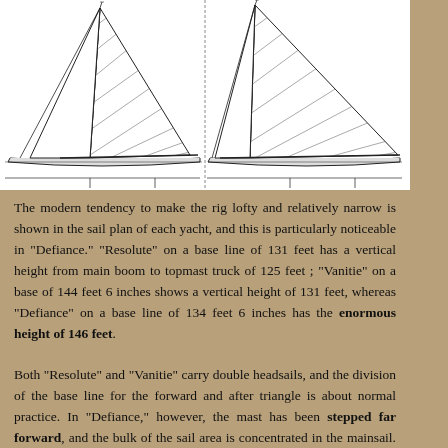[Figure (engineering-diagram): Sail plan diagram of two yachts shown side by side, depicting tall triangular mainsails with cross-hatched shading, booms, masts, and hull outlines. The rigs appear lofty and relatively narrow.]
The modern tendency to make the rig lofty and relatively narrow is shown in the sail plan of each yacht, and this is particularly noticeable in "Defiance." "Resolute" on a base line of 131 feet has a vertical height from main boom to topmast truck of 125 feet ; "Vanitie" on a base of 144 feet 6 inches shows a vertical height of 131 feet, whereas "Defiance" on a base line of 134 feet 6 inches has the enormous height of 146 feet.
Both "Resolute" and "Vanitie" carry double headsails, and the division of the base line for the forward and after triangle is about normal practice. In "Defiance," however, the mast has been stepped far forward, and the bulk of the sail area is concentrated in the mainsail. Her boom has the enormous